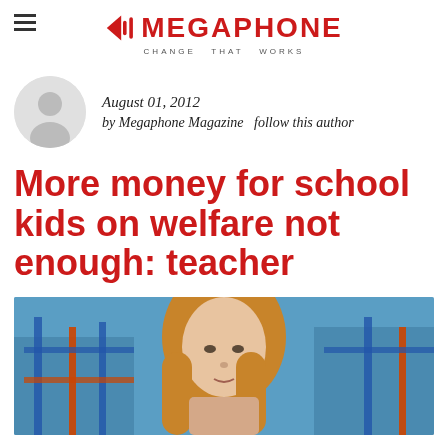MEGAPHONE — CHANGE THAT WORKS
August 01, 2012
by Megaphone Magazine  follow this author
More money for school kids on welfare not enough: teacher
[Figure (photo): Woman with long red/blonde hair standing in front of a playground with colorful equipment, looking toward camera]